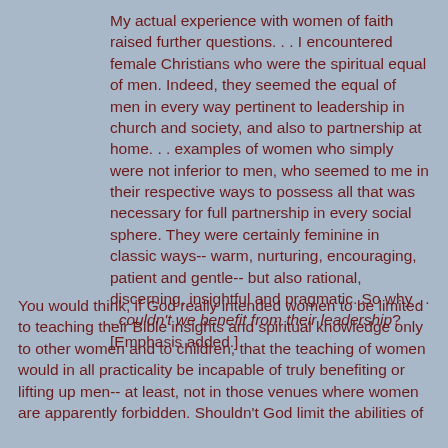My actual experience with women of faith raised further questions. . . I encountered female Christians who were the spiritual equal of men. Indeed, they seemed the equal of men in every way pertinent to leadership in church and society, and also to partnership at home. . . examples of women who simply were not inferior to men, who seemed to me in their respective ways to possess all that was necessary for full partnership in every social sphere. They were certainly feminine in classic ways-- warm, nurturing, encouraging, patient and gentle-- but also rational, discerning, insightful and pragmatic. So why . . . couldn't we benefit from their leadership? [Emphasis added.]
You would think, if God really intended women to be limited to teaching their Bible insights and spiritual knowledge only to other women and to children, that the teaching of women would in all practicality be incapable of truly benefiting or lifting up men-- at least, not in those venues where women are apparently forbidden. Shouldn't God limit the abilities of